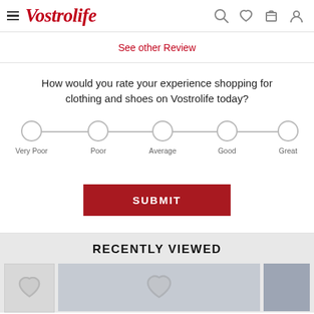Vostrolife navigation header with hamburger menu, logo, search, wishlist, cart, and account icons
See other Review
How would you rate your experience shopping for clothing and shoes on Vostrolife today?
[Figure (other): A 5-point rating scale with circles connected by a horizontal line, labeled: Very Poor, Poor, Average, Good, Great]
SUBMIT
RECENTLY VIEWED
[Figure (photo): Three recently viewed product thumbnail images in a horizontal row]